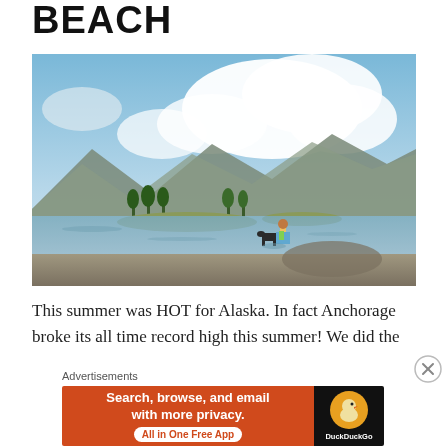BEACH
[Figure (photo): A child and a dog wading in shallow water at a beach, with green island vegetation, mountains, and a dramatic cloudy sky in the background. Rocky shore in foreground.]
This summer was HOT for Alaska. In fact Anchorage broke its all time record high this summer! We did the
Advertisements
[Figure (screenshot): DuckDuckGo advertisement banner: orange left section reads 'Search, browse, and email with more privacy. All in One Free App' with a white pill button; dark right section shows DuckDuckGo logo and brand name.]